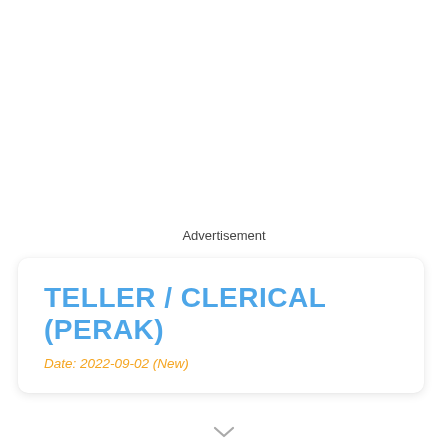Advertisement
TELLER / CLERICAL (PERAK)
Date: 2022-09-02 (New)